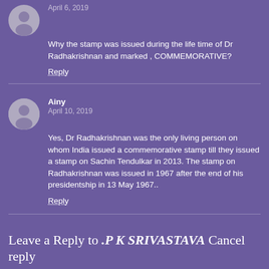April 6, 2019
Why the stamp was issued during the life time of Dr Radhakrishnan and marked , COMMEMORATIVE?
Reply
Ainy
April 10, 2019
Yes, Dr Radhakrishnan was the only living person on whom India issued a commemorative stamp till they issued a stamp on Sachin Tendulkar in 2013. The stamp on Radhakrishnan was issued in 1967 after the end of his presidentship in 13 May 1967..
Reply
Leave a Reply to .P K SRIVASTAVA Cancel reply